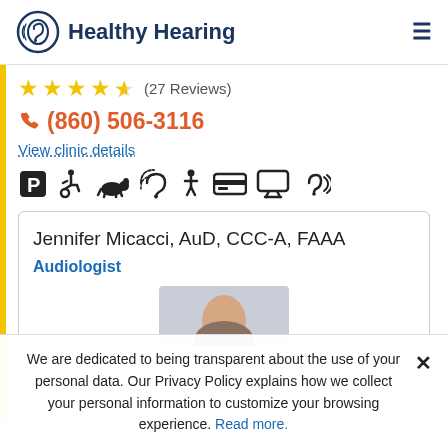Healthy Hearing
★★★★½ (27 Reviews)
(860) 506-3116
View clinic details
[Figure (infographic): Row of amenity icons: parking (P box), wheelchair accessible, service dog, hearing loop, child-friendly, credit card, computer/telehealth, hearing aid]
Jennifer Micacci, AuD, CCC-A, FAAA
Audiologist
[Figure (photo): Partial photo of the provider, showing top of head]
We are dedicated to being transparent about the use of your personal data. Our Privacy Policy explains how we collect your personal information to customize your browsing experience. Read more.